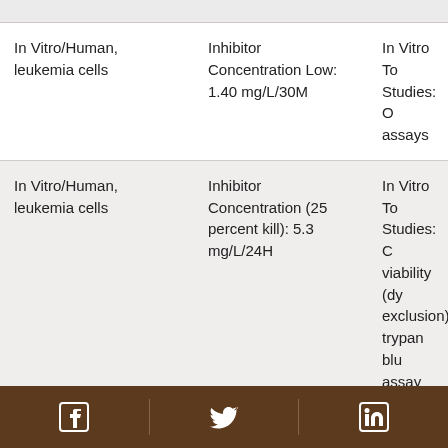| Experimental System | Inhibitor Concentration | In Vitro Toxicology Studies |
| --- | --- | --- |
| In Vitro/Human, leukemia cells | Inhibitor Concentration Low: 1.40 mg/L/30M | In Vitro Toxicology Studies: Other assays |
| In Vitro/Human, leukemia cells | Inhibitor Concentration (25 percent kill): 5.3 mg/L/24H | In Vitro Toxicology Studies: Cell viability (dye exclusion): trypan blue assay etc. |
| In Vitro/Human, leukemia cells | Inhibitor Concentration (50 percent ... | In Vitro Toxicology Studies: Other assays |
Facebook | Twitter | LinkedIn